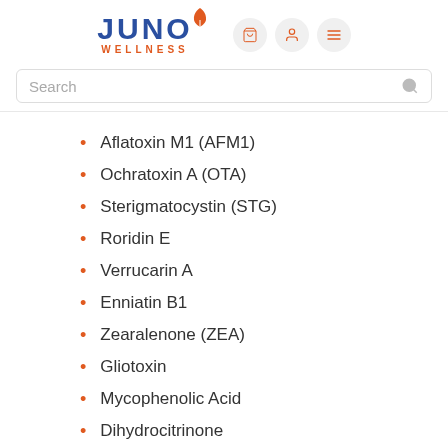[Figure (logo): Juno Wellness logo with blue JUNO text and orange WELLNESS subtitle, with orange leaf icon. Navigation icons for cart, user, and menu on the right.]
Search
Aflatoxin M1 (AFM1)
Ochratoxin A (OTA)
Sterigmatocystin (STG)
Roridin E
Verrucarin A
Enniatin B1
Zearalenone (ZEA)
Gliotoxin
Mycophenolic Acid
Dihydrocitrinone
Chaetoglobosin A